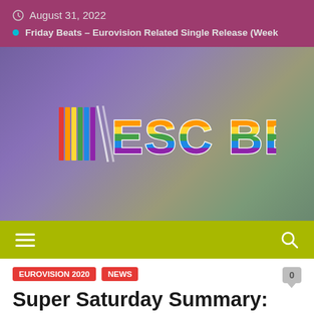August 31, 2022
Friday Beats – Eurovision Related Single Release (Week
[Figure (logo): ESC BEAT logo with colorful striped letters on a gradient purple-green background]
Navigation bar with hamburger menu and search icon on olive/yellow-green background
EUROVISION 2020   NEWS
Super Saturday Summary: Estonia, Croatia, Moldova,